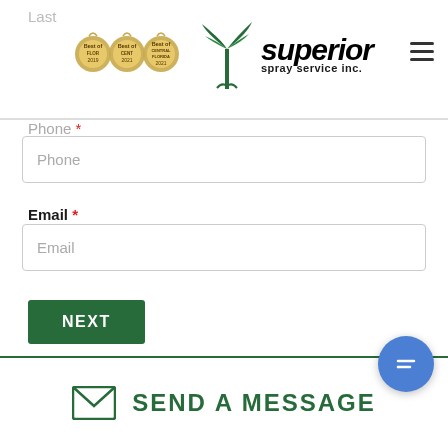[Figure (logo): Superior Spray Service Inc. logo with three 'Best of Florida/Central Florida' award badges and a palm tree icon]
Last
Phone *
Phone (placeholder)
Email *
Email (placeholder)
NEXT
SEND A MESSAGE